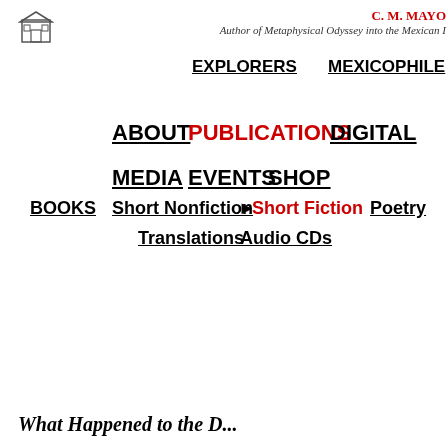[Figure (logo): Small building/house icon logo]
C. M. MAYO
Author of Metaphysical Odyssey into the Mexican I
EXPLORERS
MEXICOPHILE
ABOUT  PUBLICATIONS  DIGITAL
MEDIA  EVENTS  SHOP
BOOKS  Short Nonfiction  ▶ Short Fiction  Poetry
Translations  Audio CDs
What Happened to the D...